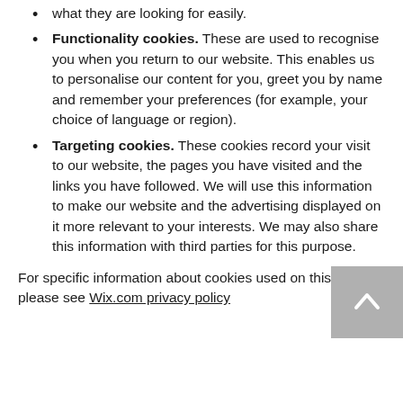what they are looking for easily.
Functionality cookies. These are used to recognise you when you return to our website. This enables us to personalise our content for you, greet you by name and remember your preferences (for example, your choice of language or region).
Targeting cookies. These cookies record your visit to our website, the pages you have visited and the links you have followed. We will use this information to make our website and the advertising displayed on it more relevant to your interests. We may also share this information with third parties for this purpose.
For specific information about cookies used on this site, please see Wix.com privacy policy